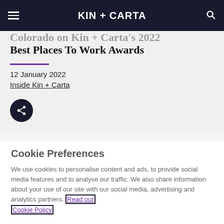KIN + CARTA
Colorado on Kin + Carta's 2022 Best Places To Work Awards
12 January 2022
Inside Kin + Carta
Cookie Preferences
We use cookies to personalise content and ads, to provide social media features and to analyse our traffic. We also share information about your use of our site with our social media, advertising and analytics partners. Read our Cookie Policy